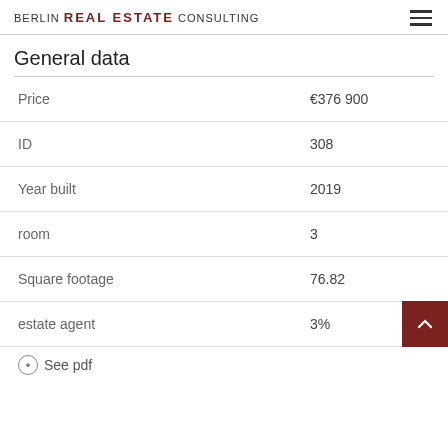BERLIN REAL ESTATE CONSULTING
General data
| Field | Value |
| --- | --- |
| Price | €376 900 |
| ID | 308 |
| Year built | 2019 |
| room | 3 |
| Square footage | 76.82 |
| estate agent | 3% |
See pdf